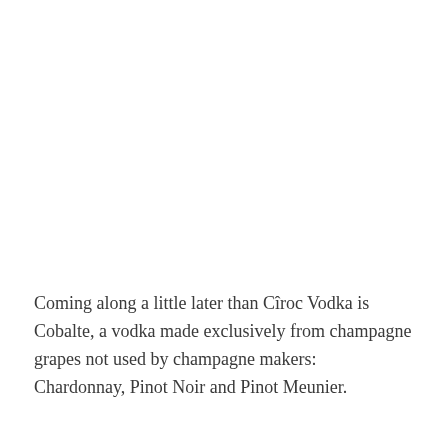Coming along a little later than Cîroc Vodka is Cobalte, a vodka made exclusively from champagne grapes not used by champagne makers: Chardonnay, Pinot Noir and Pinot Meunier.